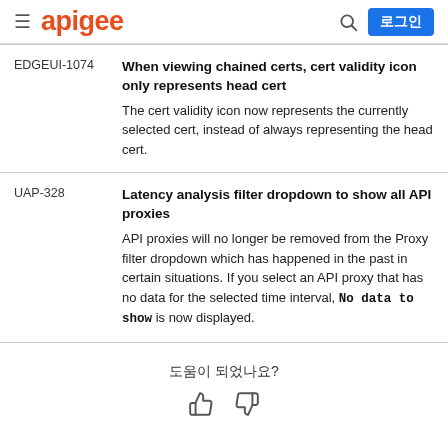≡ apigee  🔍  로그인
| ID | Description |
| --- | --- |
| EDGEUI-1074 | When viewing chained certs, cert validity icon only represents head cert
The cert validity icon now represents the currently selected cert, instead of always representing the head cert. |
| UAP-328 | Latency analysis filter dropdown to show all API proxies
API proxies will no longer be removed from the Proxy filter dropdown which has happened in the past in certain situations. If you select an API proxy that has no data for the selected time interval, No data to show is now displayed. |
도움이 되었나요?